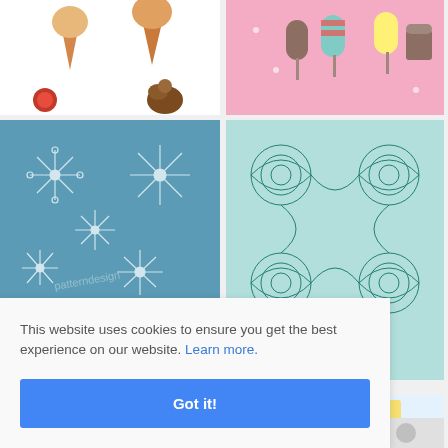[Figure (illustration): Ice cream cones and chocolate desserts pattern on white background]
[Figure (illustration): Colorful popsicles and ice cream cups pattern on pink background]
[Figure (illustration): Snowflake pattern on blue background with patterndesign watermark]
[Figure (illustration): Teal and blue ornamental tile/mandala pattern on mint background]
[Figure (illustration): Blue and yellow Portuguese-style decorative tile pattern]
[Figure (illustration): Red pattern (partially visible at bottom)]
[Figure (illustration): Gray/white pattern (partially visible at bottom)]
This website uses cookies to ensure you get the best experience on our website. Learn more.
Got it!